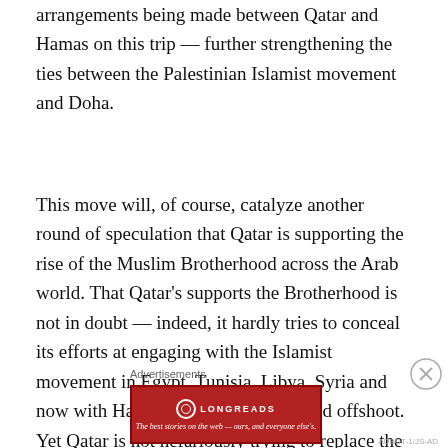arrangements being made between Qatar and Hamas on this trip — further strengthening the ties between the Palestinian Islamist movement and Doha.
This move will, of course, catalyze another round of speculation that Qatar is supporting the rise of the Muslim Brotherhood across the Arab world. That Qatar's supports the Brotherhood is not in doubt — indeed, it hardly tries to conceal its efforts at engaging with the Islamist movement in Egypt, Tunisia, Libya, Syria and now with Hamas, another Brotherhood offshoot. Yet Qatar is not nefariously trying to replace the Shia Crescent with a Brotherhood Banana, curving from Syria through Gaza, Egypt, and on to Libya and Tunisia. Doha is much more pragmatic and
Advertisements
[Figure (other): Longreads advertisement banner in red with logo and tagline: The best stories on the web — ours, and everyone else's.]